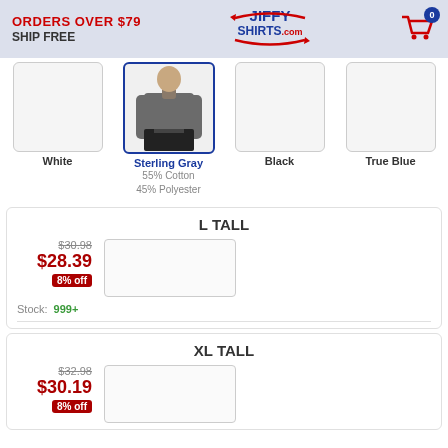ORDERS OVER $79 SHIP FREE | JiffyShirts.com | Cart: 0
[Figure (photo): Color swatch options: White (empty), Sterling Gray (selected, showing man in gray long-sleeve shirt), Black (empty), True Blue (empty)]
White
Sterling Gray
55% Cotton
45% Polyester
Black
True Blue
L TALL
$30.98
$28.39
8% off
Stock: 999+
XL TALL
$32.98
$30.19
8% off